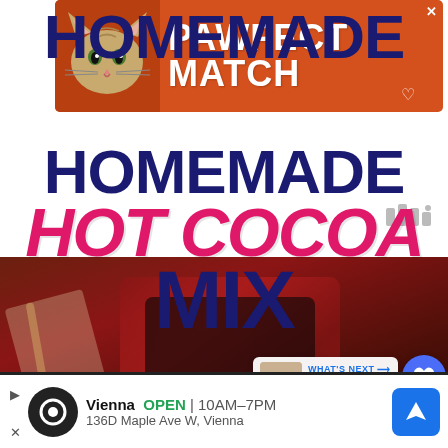[Figure (other): Advertisement banner with orange background showing a cat image and 'PAWFECT MATCH' text in white bold letters]
[Figure (other): Watermark/logo icon in gray]
HOMEMADE HOT COCOA MIX
[Figure (photo): Photo of hot cocoa in a red plaid mug with a wooden stirrer, and overlay text 'EASY &' visible. A 'WHAT'S NEXT' overlay shows Hot Chocolate Cookies (Fr...). Social share and heart buttons visible.]
[Figure (other): Bottom advertisement showing Vienna store, OPEN 10AM-7PM, 136D Maple Ave W Vienna, with navigation button]